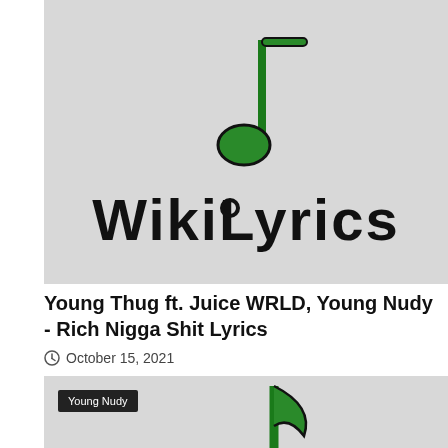[Figure (logo): WikiLyrics website logo: green musical note above the text 'WikiLyrics' on a gray background]
Young Thug ft. Juice WRLD, Young Nudy - Rich Nigga Shit Lyrics
October 15, 2021
[Figure (logo): WikiLyrics logo on gray background with 'Young Nudy' label badge in top-left corner and partial 'WikiLyrics' text at bottom]